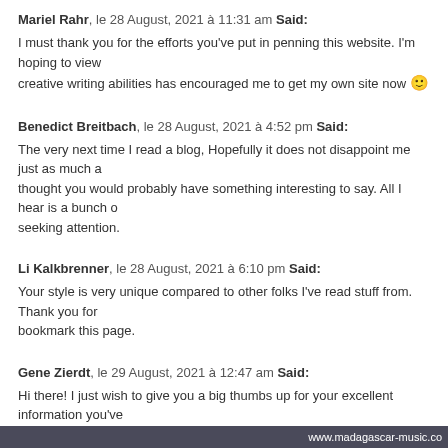Mariel Rahr, le 28 August, 2021 à 11:31 am Said:
I must thank you for the efforts you've put in penning this website. I'm hoping to view the same high-grade blog posts by you later on as well. In truth, your creative writing abilities has encouraged me to get my own site now 🙂
Benedict Breitbach, le 28 August, 2021 à 4:52 pm Said:
The very next time I read a blog, Hopefully it does not disappoint me just as much as this one. I mean, I know it was my choice to read, but I actually thought you would probably have something interesting to say. All I hear is a bunch of whining about something you can fix if you weren't too busy seeking attention.
Li Kalkbrenner, le 28 August, 2021 à 6:10 pm Said:
Your style is very unique compared to other folks I've read stuff from. Thank you for posting when you've got the opportunity, Guess I will just bookmark this page.
Gene Zierdt, le 29 August, 2021 à 12:47 am Said:
Hi there! I just wish to give you a big thumbs up for your excellent information you've got here on this post. I will be coming back to your site for more soon.
Bryon Pacek, le 29 August, 2021 à 6:40 am Said:
This website was… how do I say it? Relevant!! Finally I have found something which...
www.madagascar-music.com